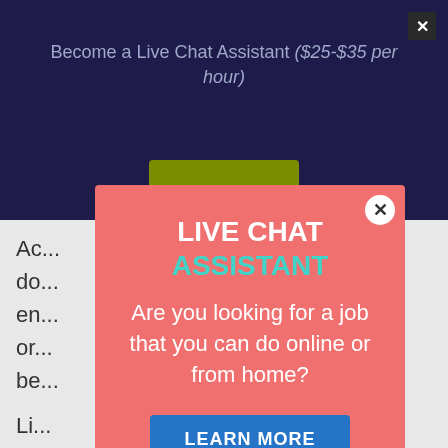Become a Live Chat Assistant ($25-$35 per hour)
Ac... do... en... or... be...
Li...
A lot of liberty features online jobs in your home, you can work as much or just you desire. You can take care of any other commitments you have and still care for your family.
[Figure (screenshot): Popup modal overlay with salmon/coral background. Title reads 'LIVE CHAT ASSISTANT' in white and teal bold text. Body text reads 'Are you looking for a job that you can do online or from home?' in white. A blue 'LEARN MORE' button is shown at the bottom of the popup. A circular close button (X) is in the top right corner of the popup.]